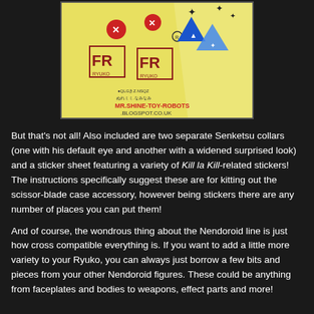[Figure (photo): A yellow sticker sheet with various Kill la Kill-related stickers including red circular symbols, a blue/white triangle symbol, Japanese character logos, and a watermark reading MR.SHINE-TOY-ROBOTS.BLOGSPOT.CO.UK]
But that's not all! Also included are two separate Senketsu collars (one with his default eye and another with a widened surprised look) and a sticker sheet featuring a variety of Kill la Kill-related stickers! The instructions specifically suggest these are for kitting out the scissor-blade case accessory, however being stickers there are any number of places you can put them!
And of course, the wondrous thing about the Nendoroid line is just how cross compatible everything is. If you want to add a little more variety to your Ryuko, you can always just borrow a few bits and pieces from your other Nendoroid figures. These could be anything from faceplates and bodies to weapons, effect parts and more!